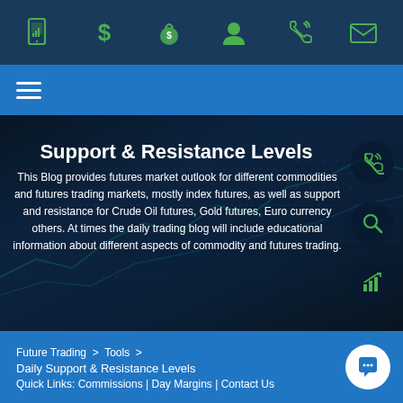Icon navigation bar with: mobile/chart icon, dollar sign, money bag, user profile, phone, envelope
[Figure (screenshot): Navigation bar with hamburger menu icon on blue background]
Support & Resistance Levels
This Blog provides futures market outlook for different commodities and futures trading markets, mostly index futures, as well as support and resistance for Crude Oil futures, Gold futures, Euro currency others. At times the daily trading blog will include educational information about different aspects of commodity and futures trading.
Future Trading > Tools > Daily Support & Resistance Levels Quick Links: Commissions | Day Margins | Contact Us